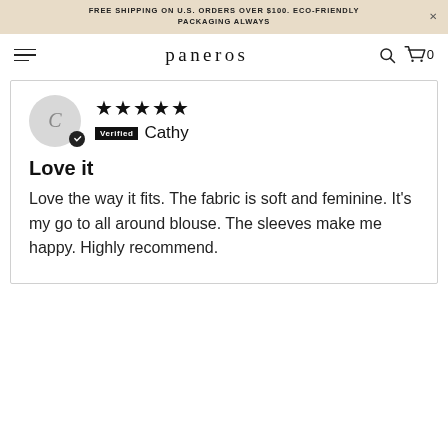FREE SHIPPING ON U.S. ORDERS OVER $100. ECO-FRIENDLY PACKAGING ALWAYS
paneros
Love it
Love the way it fits. The fabric is soft and feminine. It's my go to all around blouse. The sleeves make me happy. Highly recommend.